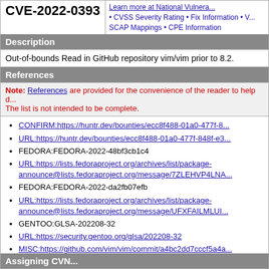CVE-2022-0393
Learn more at National Vulnera... • CVSS Severity Rating • Fix Information • V... SCAP Mappings • CPE Information
Description
Out-of-bounds Read in GitHub repository vim/vim prior to 8.2.
References
Note: References are provided for the convenience of the reader to help d... The list is not intended to be complete.
CONFIRM:https://huntr.dev/bounties/ecc8f488-01a0-477f-8...
URL:https://huntr.dev/bounties/ecc8f488-01a0-477f-848f-e3...
FEDORA:FEDORA-2022-48bf3cb1c4
URL:https://lists.fedoraproject.org/archives/list/package-announce@lists.fedoraproject.org/message/7ZLEHVP4LNA...
FEDORA:FEDORA-2022-da2fb07efb
URL:https://lists.fedoraproject.org/archives/list/package-announce@lists.fedoraproject.org/message/UFXFAILMLUI...
GENTOO:GLSA-202208-32
URL:https://security.gentoo.org/glsa/202208-32
MISC:https://github.com/vim/vim/commit/a4bc2dd7cccf5a4a...
URL:https://github.com/vim/vim/commit/a4bc2dd7cccf5a4a9...
Assigning CVE...